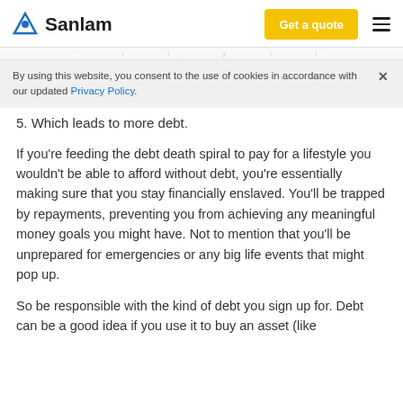Sanlam | Get a quote
By using this website, you consent to the use of cookies in accordance with our updated Privacy Policy.
5. Which leads to more debt.
If you're feeding the debt death spiral to pay for a lifestyle you wouldn't be able to afford without debt, you're essentially making sure that you stay financially enslaved. You'll be trapped by repayments, preventing you from achieving any meaningful money goals you might have. Not to mention that you'll be unprepared for emergencies or any big life events that might pop up.
So be responsible with the kind of debt you sign up for. Debt can be a good idea if you use it to buy an asset (like